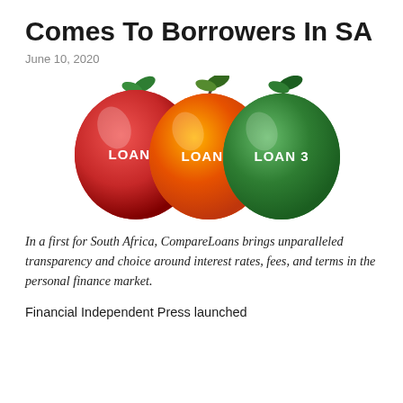Comes To Borrowers In SA
June 10, 2020
[Figure (illustration): Three apples side by side — a red apple labeled LOAN 1, an orange/gold apple labeled LOAN 2, and a green apple labeled LOAN 3. Each apple has a stem and green leaves on top.]
In a first for South Africa, CompareLoans brings unparalleled transparency and choice around interest rates, fees, and terms in the personal finance market.
Financial Independent Press launched